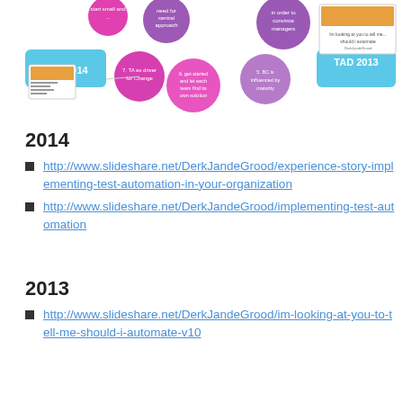[Figure (infographic): Colorful infographic with circles and bubbles showing test automation topics. Includes labels: 'TAD 2014', 'TAD 2013', '7. TA as driver for Change', '6. get started and let each team find its own solution', '5. BC is influenced by maturity', 'start small and...', 'need for central approach', 'in order to convince managers'. Contains two document thumbnail images.]
2014
http://www.slideshare.net/DerkJandeGrood/experience-story-implementing-test-automation-in-your-organization
http://www.slideshare.net/DerkJandeGrood/implementing-test-automation
2013
http://www.slideshare.net/DerkJandeGrood/im-looking-at-you-to-tell-me-should-i-automate-v10